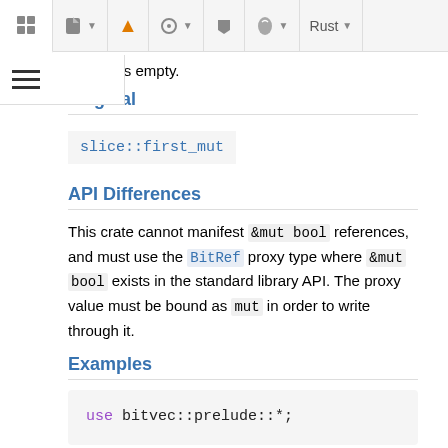Rust documentation page header toolbar with icons
one if it is empty.
Original
slice::first_mut
API Differences
This crate cannot manifest &mut bool references, and must use the BitRef proxy type where &mut bool exists in the standard library API. The proxy value must be bound as mut in order to write through it.
Examples
use bitvec::prelude::*;